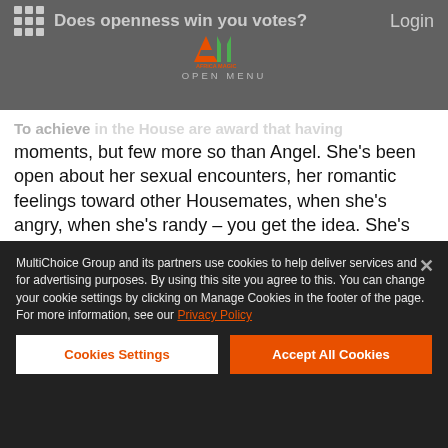Does openness win you votes?
moments, but few more so than Angel. She's been open about her sexual encounters, her romantic feelings toward other Housemates, when she's angry, when she's randy – you get the idea. She's also been open about her past, which she says has been traumatic.
MultiChoice Group and its partners use cookies to help deliver services and for advertising purposes. By using this site you agree to this. You can change your cookie settings by clicking on Manage Cookies in the footer of the page. For more information, see our Privacy Policy